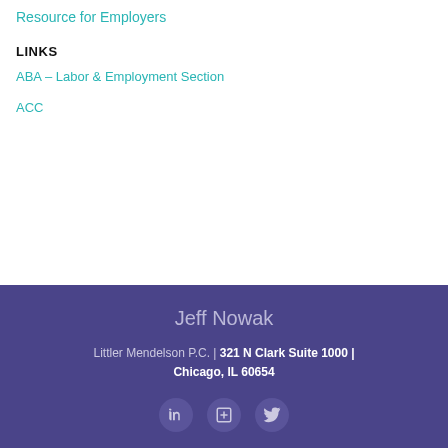Resource for Employers
LINKS
ABA – Labor & Employment Section
ACC
Jeff Nowak
Littler Mendelson P.C. | 321 N Clark Suite 1000 | Chicago, IL 60654